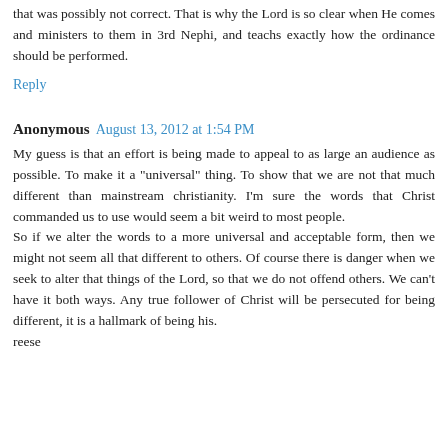that was possibly not correct. That is why the Lord is so clear when He comes and ministers to them in 3rd Nephi, and teachs exactly how the ordinance should be performed.
Reply
Anonymous  August 13, 2012 at 1:54 PM
My guess is that an effort is being made to appeal to as large an audience as possible. To make it a "universal" thing. To show that we are not that much different than mainstream christianity. I'm sure the words that Christ commanded us to use would seem a bit weird to most people.
So if we alter the words to a more universal and acceptable form, then we might not seem all that different to others. Of course there is danger when we seek to alter that things of the Lord, so that we do not offend others. We can't have it both ways. Any true follower of Christ will be persecuted for being different, it is a hallmark of being his.
reese